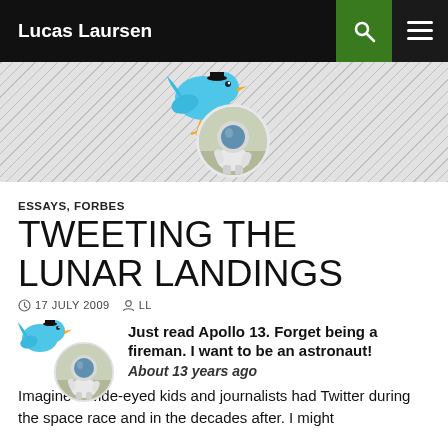Lucas Laursen
[Figure (illustration): Twitter bird logo with astronaut on the moon in a circular inset, on a diagonal hatched background banner]
ESSAYS, FORBES
TWEETING THE LUNAR LANDINGS
17 JULY 2009   LL
[Figure (illustration): Small Twitter bird logo with astronaut circular photo, tweet avatar]
Just read Apollo 13. Forget being a fireman. I want to be an astronaut!
About 13 years ago
Imagine if wide-eyed kids and journalists had Twitter during the space race and in the decades after. I might